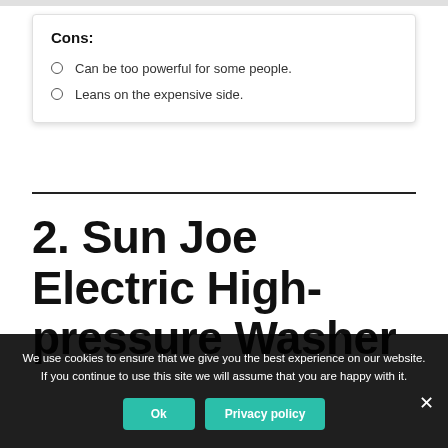Cons:
Can be too powerful for some people.
Leans on the expensive side.
2. Sun Joe Electric High-pressure Washer
We use cookies to ensure that we give you the best experience on our website. If you continue to use this site we will assume that you are happy with it.